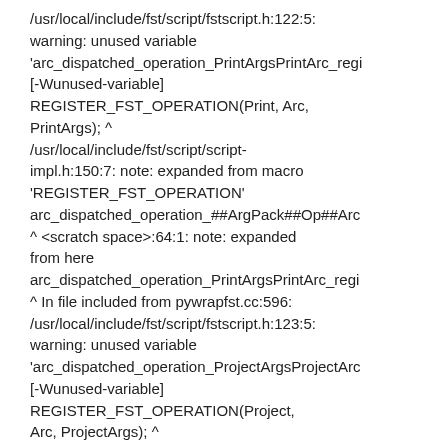/usr/local/include/fst/script/fstscript.h:122:5: warning: unused variable 'arc_dispatched_operation_PrintArgsPrintArc_regi [-Wunused-variable] REGISTER_FST_OPERATION(Print, Arc, PrintArgs); ^ /usr/local/include/fst/script/script-impl.h:150:7: note: expanded from macro 'REGISTER_FST_OPERATION' arc_dispatched_operation_##ArgPack##Op##Arc ^ <scratch space>:64:1: note: expanded from here arc_dispatched_operation_PrintArgsPrintArc_regi ^ In file included from pywrapfst.cc:596: /usr/local/include/fst/script/fstscript.h:123:5: warning: unused variable 'arc_dispatched_operation_ProjectArgsProjectArc [-Wunused-variable] REGISTER_FST_OPERATION(Project, Arc, ProjectArgs); ^ /usr/local/include/fst/script/script-impl.h:150:7: note: expanded from macro